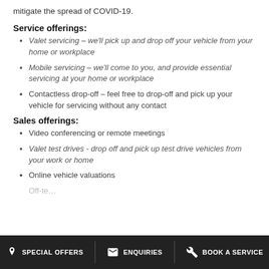mitigate the spread of COVID-19.
Service offerings:
Valet servicing – we'll pick up and drop off your vehicle from your home or workplace
Mobile servicing – we'll come to you, and provide essential servicing at your home or workplace
Contactless drop-off – feel free to drop-off and pick up your vehicle for servicing without any contact
Sales offerings:
Video conferencing or remote meetings
Valet test drives - drop off and pick up test drive vehicles from your work or home
Online vehicle valuations
SPECIAL OFFERS   ENQUIRIES   BOOK A SERVICE